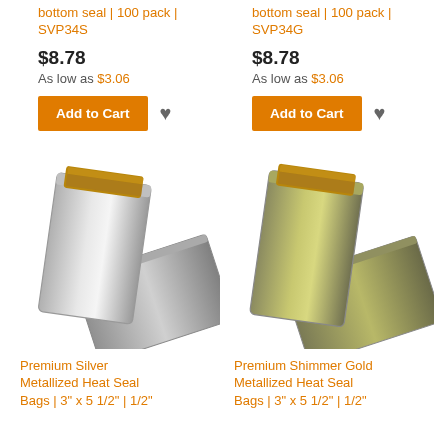bottom seal | 100 pack | SVP34S
bottom seal | 100 pack | SVP34G
$8.78
$8.78
As low as $3.06
As low as $3.06
[Figure (photo): Premium Silver Metallized Heat Seal Bags product photo showing two silver foil bags, one upright and one lying flat, with a granola bar visible]
[Figure (photo): Premium Shimmer Gold Metallized Heat Seal Bags product photo showing two gold foil bags, one upright and one lying flat, with a granola bar visible]
Premium Silver Metallized Heat Seal Bags | 3" x 5 1/2" | 1/2"
Premium Shimmer Gold Metallized Heat Seal Bags | 3" x 5 1/2" | 1/2"